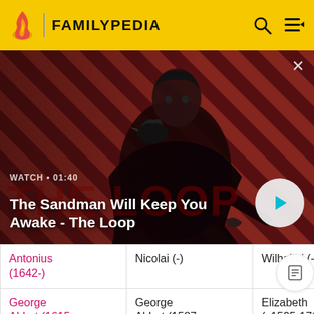FAMILYPEDIA
[Figure (screenshot): Video banner for 'The Sandman Will Keep You Awake - The Loop' on Familypedia, showing a dark-robed figure with a raven on a red and black striped background. Includes WATCH • 01:40 label and a circular play button.]
WATCH • 01:40
The Sandman Will Keep You Awake - The Loop
| Person | Parent | Parent |
| --- | --- | --- |
| Antonius (1642-) | Nicolai (-) | Wilhelmi (-) |
| George Abbot (1615-1681) | George Abbot (1587-1647) | Elizabeth (c1595-1711) |